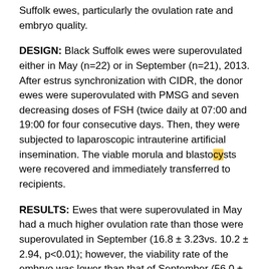Suffolk ewes, particularly the ovulation rate and embryo quality.
DESIGN: Black Suffolk ewes were superovulated either in May (n=22) or in September (n=21), 2013. After estrus synchronization with CIDR, the donor ewes were superovulated with PMSG and seven decreasing doses of FSH (twice daily at 07:00 and 19:00 for four consecutive days. Then, they were subjected to laparoscopic intrauterine artificial insemination. The viable morula and blastocysts were recovered and immediately transferred to recipients.
RESULTS: Ewes that were superovulated in May had a much higher ovulation rate than those were superovulated in September (16.8 ± 3.23vs. 10.2 ± 2.94, p<0.01); however, the viability rate of the embryo was lower than that of September (56.0 ± 1.92% vs. 92.5 ± 3.26%, p<0.01). There was no significant difference in the survival rate of the transferred viable embryos (33.9 ± 1.00% vs. 36.7 ± 1.64%, p>0.05) and the number of offspring per donor ewe (3.1 ± 0.54 vs. 2.9 ± 0.72, p>0.05) between May and September. In contrast, the